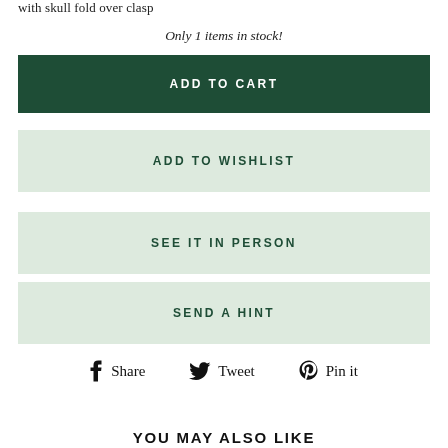with skull fold over clasp
Only 1 items in stock!
ADD TO CART
ADD TO WISHLIST
SEE IT IN PERSON
SEND A HINT
Share  Tweet  Pin it
YOU MAY ALSO LIKE